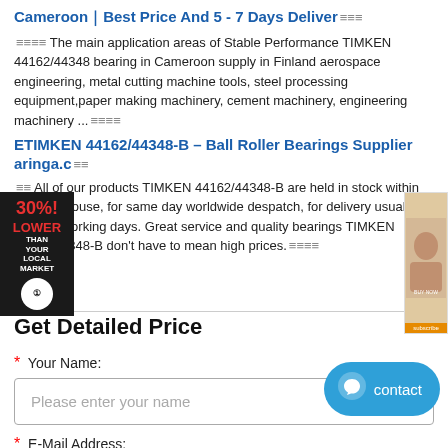Cameroon｜Best Price And 5 - 7 Days Deliver≡≡≡
≡≡≡≡ The main application areas of Stable Performance TIMKEN 44162/44348 bearing in Cameroon supply in Finland aerospace engineering, metal cutting machine tools, steel processing equipment,paper making machinery, cement machinery, engineering machinery ...≡≡≡≡
ETIMKEN 44162/44348-B – Ball Roller Bearings Supplier aringa.c≡≡
≡≡ All of our products TIMKEN 44162/44348-B are held in stock within our warehouse, for same day worldwide despatch, for delivery usually within 3 working days. Great service and quality bearings TIMKEN 44162/44348-B don't have to mean high prices.≡≡≡≡
Get Detailed Price
* Your Name:
Please enter your name
* E-Mail Address: